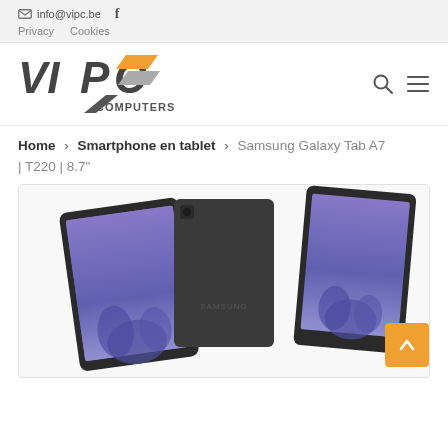info@vipc.be  f  Privacy  Cookies
[Figure (logo): VIPC Computers logo with orange and grey diagonal accent marks]
Home > Smartphone en tablet > Samsung Galaxy Tab A7 | T220 | 8.7"
[Figure (photo): Samsung Galaxy Tab A7 T220 shown from front, back, and side angles in dark grey color with purple/blue screen]